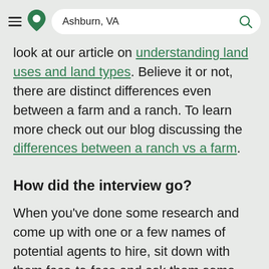Ashburn, VA
look at our article on understanding land uses and land types. Believe it or not, there are distinct differences even between a farm and a ranch. To learn more check out our blog discussing the differences between a ranch vs a farm.
How did the interview go?
When you've done some research and come up with one or a few names of potential agents to hire, sit down with them face-to-face and ask them some questions. This will reveal a lot about